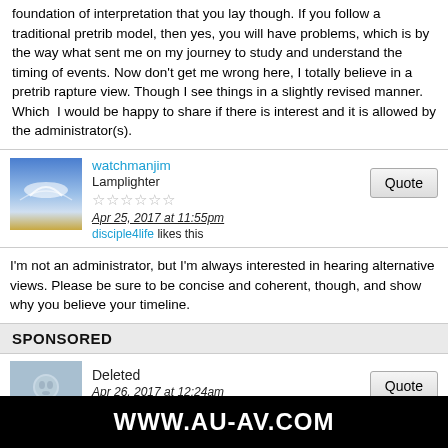foundation of interpretation that you lay though. If you follow a traditional pretrib model, then yes, you will have problems, which is by the way what sent me on my journey to study and understand the timing of events. Now don't get me wrong here, I totally believe in a pretrib rapture view. Though I see things in a slightly revised manner. Which I would be happy to share if there is interest and it is allowed by the administrator(s).
watchmanjim
Lamplighter
★★★★★★
Apr 25, 2017 at 11:55pm
disciple4life likes this
I'm not an administrator, but I'm always interested in hearing alternative views. Please be sure to be concise and coherent, though, and show why you believe your timeline.
SPONSORED
Deleted
Apr 26, 2017 at 12:24am
I am interested! The Lord has been putting revelation study on me also and I'd like to see where it matches or disagrees with what I am seeing. I see it running chronologically, with interludes and chapters giving more detailed
WWW.AU-AV.COM